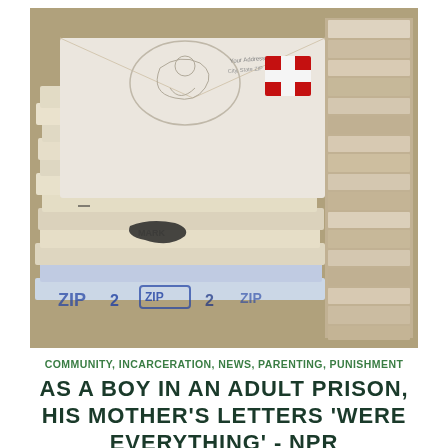[Figure (photo): A large pile of stacked envelopes and letters filling a box, with a visible red stamp/postage mark on the top envelope. On the right side, more envelopes are stacked vertically. Background is blurred.]
COMMUNITY, INCARCERATION, NEWS, PARENTING, PUNISHMENT
AS A BOY IN AN ADULT PRISON, HIS MOTHER'S LETTERS 'WERE EVERYTHING' - NPR